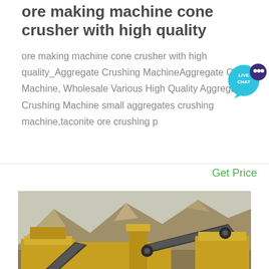ore making machine cone crusher with high quality
ore making machine cone crusher with high quality_Aggregate Crushing MachineAggregate Crushing Machine, Wholesale Various High Quality Aggregate Crushing Machine small aggregates crushing machine,taconite ore crushing p
Get Price
[Figure (photo): Mining/crushing plant with yellow machinery, conveyor belts, and mountainous background.]